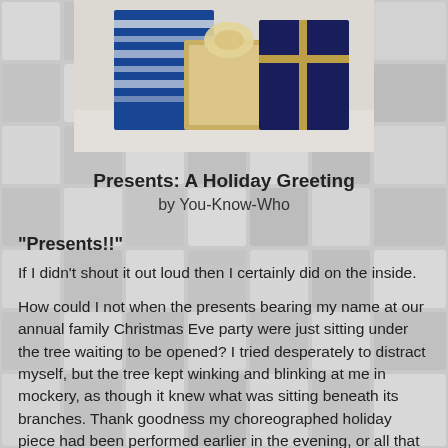[Figure (photo): A photo showing wrapped Christmas presents with blue/white patterned wrapping and gold/dark gift boxes on a white fluffy surface.]
Presents: A Holiday Greeting
by You-Know-Who
"Presents!!"
If I didn't shout it out loud then I certainly did on the inside.
How could I not when the presents bearing my name at our annual family Christmas Eve party were just sitting under the tree waiting to be opened?  I tried desperately to distract myself, but the tree kept winking and blinking at me in mockery, as though it knew what was sitting beneath its branches.  Thank goodness my choreographed holiday piece had been performed earlier in the evening, or all that waiting could have turned ugly.